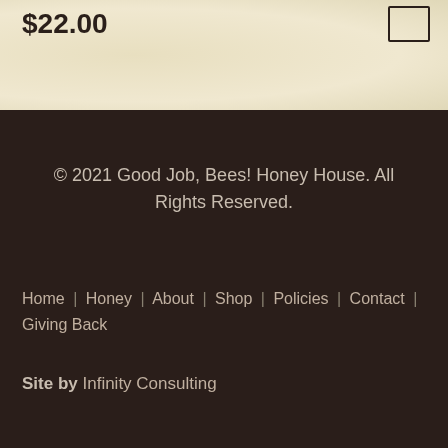$22.00
© 2021 Good Job, Bees! Honey House. All Rights Reserved.
Home | Honey | About | Shop | Policies | Contact | Giving Back
Site by Infinity Consulting